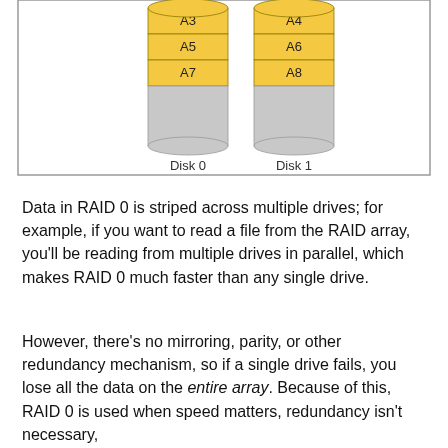[Figure (schematic): Two disk cylinders labeled Disk 0 and Disk 1, each with striped segments labeled A3, A5, A7 on Disk 0 and A4, A6, A8 on Disk 1, shown inside a bordered box. The segments are colored gold/yellow on top and gray below.]
Data in RAID 0 is striped across multiple drives; for example, if you want to read a file from the RAID array, you'll be reading from multiple drives in parallel, which makes RAID 0 much faster than any single drive.
However, there's no mirroring, parity, or other redundancy mechanism, so if a single drive fails, you lose all the data on the entire array. Because of this, RAID 0 is used when speed matters, redundancy isn't necessary,